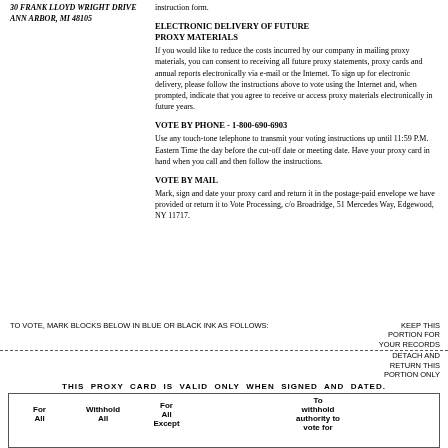30 FRANK LLOYD WRIGHT DRIVE
ANN ARBOR, MI 48105
instruction form.
ELECTRONIC DELIVERY OF FUTURE PROXY MATERIALS
If you would like to reduce the costs incurred by our company in mailing proxy materials, you can consent to receiving all future proxy statements, proxy cards and annual reports electronically via e-mail or the Internet. To sign up for electronic delivery, please follow the instructions above to vote using the Internet and, when prompted, indicate that you agree to receive or access proxy materials electronically in future years.
VOTE BY PHONE - 1-800-690-6903
Use any touch-tone telephone to transmit your voting instructions up until 11:59 P.M. Eastern Time the day before the cut-off date or meeting date. Have your proxy card in hand when you call and then follow the instructions.
VOTE BY MAIL
Mark, sign and date your proxy card and return it in the postage-paid envelope we have provided or return it to Vote Processing, c/o Broadridge, 51 Mercedes Way, Edgewood, NY 11717.
TO VOTE, MARK BLOCKS BELOW IN BLUE OR BLACK INK AS FOLLOWS:
KEEP THIS PORTION FOR YOUR RECORDS
DETACH AND RETURN THIS PORTION ONLY
THIS PROXY CARD IS VALID ONLY WHEN SIGNED AND DATED.
| For All | Withhold All | For All Except | To withhold authority to vote for |
| --- | --- | --- | --- |
|  |